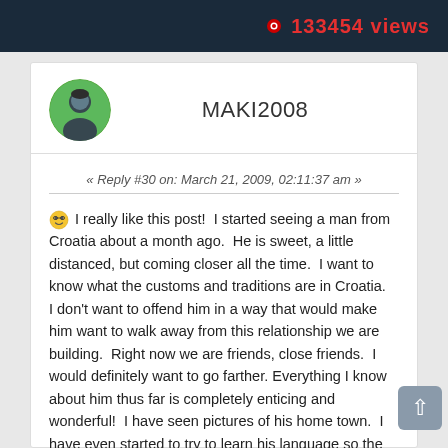133454 views
MAKI2008
« Reply #30 on: March 21, 2009, 02:11:37 am »
I really like this post!  I started seeing a man from Croatia about a month ago.  He is sweet, a little distanced, but coming closer all the time.  I want to know what the customs and traditions are in Croatia.   I don't want to offend him in a way that would make him want to walk away from this relationship we are building.  Right now we are friends, close friends.  I would definitely want to go farther.  Everything I know about him thus far is completely enticing and wonderful!  I have seen pictures of his home town.  I have even started to try to learn his language so the language barrier is not great!  I am doing that on my own.  Oh, and he is tall, handsome, has a large appetite, and speaks of his family at home with great admiration.  I have several friends from the Balkans area here where I am, and the appetite thing must be something!  They all eat like